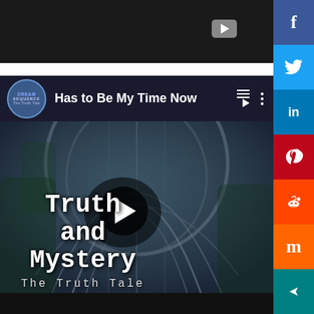[Figure (screenshot): Dark top bar with YouTube play button icon in upper right]
[Figure (screenshot): YouTube video player showing 'Has to Be My Time Now' with Dream Sequence channel icon, play button overlay, album art showing 'Truth and Mystery - The Truth Tale' text over an architectural arch/dome structure]
[Figure (infographic): Vertical social sharing sidebar on the right with Facebook (f), Twitter (bird), LinkedIn (in), Pinterest (p), Reddit (alien face), Mix (m), and arrow icons]